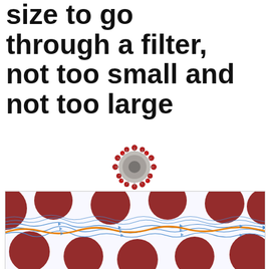size to go through a filter, not too small and not too large
[Figure (illustration): 3D illustration of a coronavirus particle with red spike proteins on a gray spherical body]
[Figure (schematic): Diagram showing airflow streamlines (blue arrows) weaving around large red circular particles (filter fibers), with an orange streamline tracing a path through the filter medium]